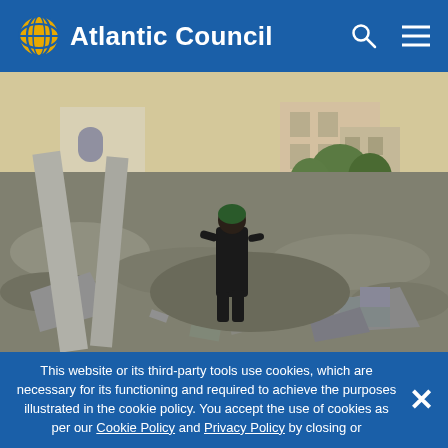Atlantic Council
[Figure (photo): A person dressed in black walking through rubble and destroyed buildings in a war-torn area. Concrete columns and debris are visible in the foreground, with damaged buildings and trees in the background.]
This website or its third-party tools use cookies, which are necessary for its functioning and required to achieve the purposes illustrated in the cookie policy. You accept the use of cookies as per our Cookie Policy and Privacy Policy by closing or